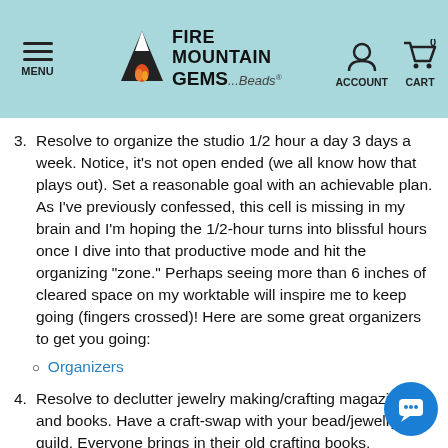Fire Mountain Gems and Beads — MENU | ACCOUNT | CART 0
3. Resolve to organize the studio 1/2 hour a day 3 days a week. Notice, it's not open ended (we all know how that plays out). Set a reasonable goal with an achievable plan. As I've previously confessed, this cell is missing in my brain and I'm hoping the 1/2-hour turns into blissful hours once I dive into that productive mode and hit the organizing "zone." Perhaps seeing more than 6 inches of cleared space on my worktable will inspire me to keep going (fingers crossed)! Here are some great organizers to get you going:
Organizers
4. Resolve to declutter jewelry making/crafting magazines and books. Have a craft-swap with your bead/jewelry guild. Everyone brings in their old crafting books, magazines and beads, and you swap. The goal is to go home with FEWER items than you arrived with (tough to do). It's a win-win for